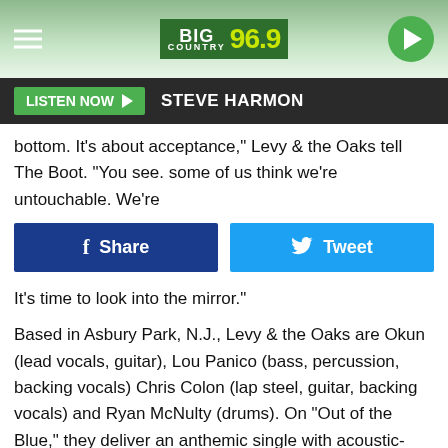Big Country 96.9 — LISTEN NOW — STEVE HARMON
bottom. It's about acceptance," Levy & the Oaks tell The Boot. "You see. some of us think we're untouchable. We're
[Figure (screenshot): Facebook Share button and Twitter Tweet button side by side]
It's time to look into the mirror."
Based in Asbury Park, N.J., Levy & the Oaks are Okun (lead vocals, guitar), Lou Panico (bass, percussion, backing vocals) Chris Colon (lap steel, guitar, backing vocals) and Ryan McNulty (drums). On "Out of the Blue," they deliver an anthemic single with acoustic-driven arrangements and a blend of grassroots rock and indie pop; while the subject matter is serious, you can't help but sing along.